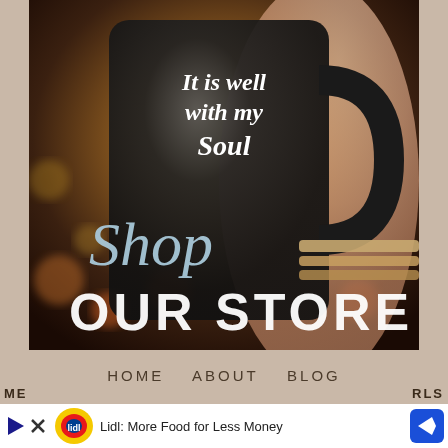[Figure (photo): A black coffee mug with the text 'It is well with my Soul' held by a hand wearing scripture bracelets, over an autumn background with bokeh lights and apples. Overlaid text reads 'Shop' in script and 'OUR STORE' in bold white.]
HOME   ABOUT   BLOG
WOMEN'S JOURNALS   DIGITAL JOURNALS
[Figure (other): Advertisement banner: Lidl logo, play and close icons, text 'Lidl: More Food for Less Money', navigation icon. Partial text visible: 'in-store shopping' with checkmark. Partial text at bottom: 'ME... RLS']